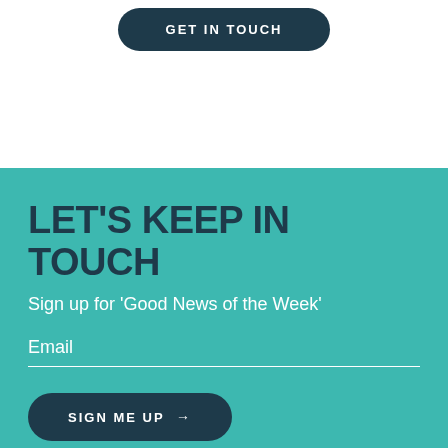[Figure (screenshot): A dark teal rounded button with white uppercase bold text reading 'GET IN TOUCH' partially visible at top of page]
LET'S KEEP IN TOUCH
Sign up for 'Good News of the Week'
Email
[Figure (screenshot): A dark teal rounded button with white uppercase bold text reading 'SIGN ME UP →']